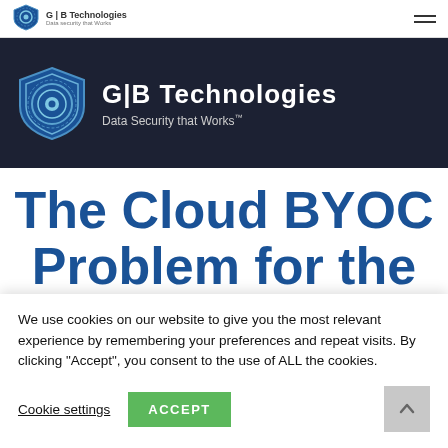[Figure (logo): G|B Technologies shield logo with cogwheel design in blue, shown in navigation bar]
[Figure (logo): Large G|B Technologies shield logo with cogwheel in blue and white on dark background, with text 'G|B Technologies' and 'Data Security that Works']
The Cloud BYOC Problem for the
We use cookies on our website to give you the most relevant experience by remembering your preferences and repeat visits. By clicking “Accept”, you consent to the use of ALL the cookies.
Cookie settings  ACCEPT